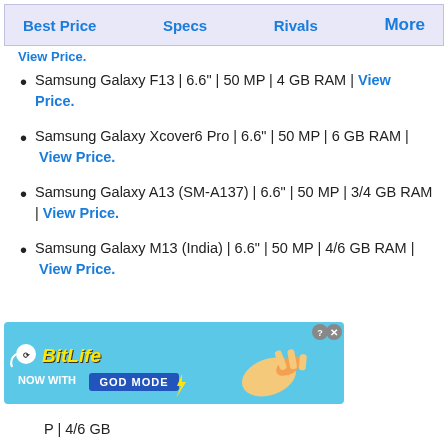Best Price | Specs | Rivals | More
Samsung Galaxy F13 | 6.6" | 50 MP | 4 GB RAM | View Price.
Samsung Galaxy Xcover6 Pro | 6.6" | 50 MP | 6 GB RAM | View Price.
Samsung Galaxy A13 (SM-A137) | 6.6" | 50 MP | 3/4 GB RAM | View Price.
Samsung Galaxy M13 (India) | 6.6" | 50 MP | 4/6 GB RAM | View Price.
[Figure (screenshot): BitLife advertisement banner: 'NOW WITH GOD MODE' with hand pointing graphic]
| 4/6 GB (partial, cut off)